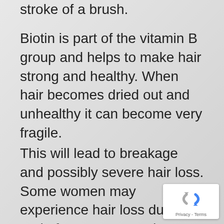stroke of a brush.
Biotin is part of the vitamin B group and helps to make hair strong and healthy. When hair becomes dried out and unhealthy it can become very fragile.
This will lead to breakage and possibly severe hair loss. Some women may experience hair loss during and after pregnancy due to changes in hormones, biotin has been
[Figure (logo): reCAPTCHA badge with logo and Privacy - Terms text]